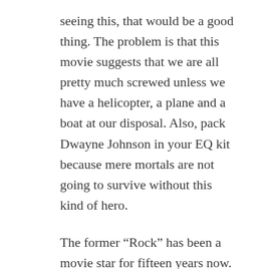seeing this, that would be a good thing. The problem is that this movie suggests that we are all pretty much screwed unless we have a helicopter, a plane and a boat at our disposal. Also, pack Dwayne Johnson in your EQ kit because mere mortals are not going to survive without this kind of hero.
The former “Rock” has been a movie star for fifteen years now. He is in one of the biggest franchises in Hollywood, and he gets better as an actor each time out while keeping the charisma that made him a star wrestler before he moved over to the silver screen. He loads this unbelievably derivative story on his broad shoulders and powers though it as if it were Shakespeare. He does not play it camp and he does a credible job playing the hero that everyone will need in